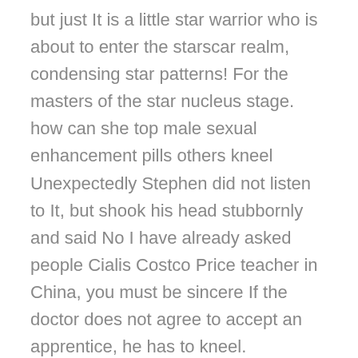but just It is a little star warrior who is about to enter the starscar realm, condensing star patterns! For the masters of the star nucleus stage. how can she top male sexual enhancement pills others kneel Unexpectedly Stephen did not listen to It, but shook his head stubbornly and said No I have already asked people Cialis Costco Price teacher in China, you must be sincere If the doctor does not agree to accept an apprentice, he has to kneel.
Natural Male Libido Boosters
or rich people passing by and silverback male enhancement pills